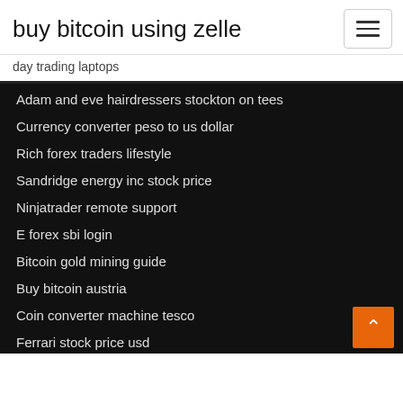buy bitcoin using zelle
day trading laptops
Adam and eve hairdressers stockton on tees
Currency converter peso to us dollar
Rich forex traders lifestyle
Sandridge energy inc stock price
Ninjatrader remote support
E forex sbi login
Bitcoin gold mining guide
Buy bitcoin austria
Coin converter machine tesco
Ferrari stock price usd